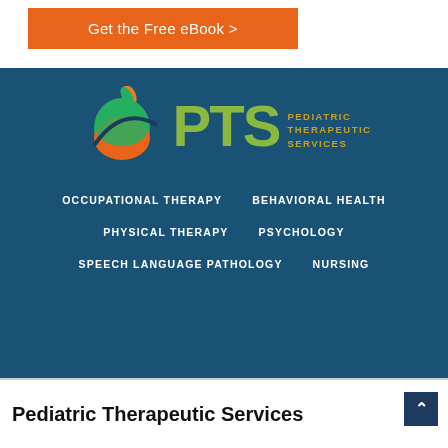Get the Free eBook >
[Figure (logo): PTS Pediatric Therapeutic Services logo with apple and swoosh graphic on dark blue background]
OCCUPATIONAL THERAPY
BEHAVIORAL HEALTH
PHYSICAL THERAPY
PSYCHOLOGY
SPEECH LANGUAGE PATHOLOGY
NURSING
Pediatric Therapeutic Services